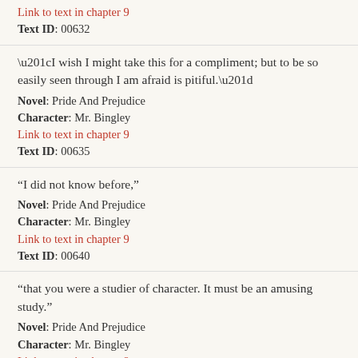Link to text in chapter 9
Text ID: 00632
“I wish I might take this for a compliment; but to be so easily seen through I am afraid is pitiful.”
Novel: Pride And Prejudice
Character: Mr. Bingley
Link to text in chapter 9
Text ID: 00635
“I did not know before,”
Novel: Pride And Prejudice
Character: Mr. Bingley
Link to text in chapter 9
Text ID: 00640
“that you were a studier of character. It must be an amusing study.”
Novel: Pride And Prejudice
Character: Mr. Bingley
Link to text in chapter 9
Text ID: 00642